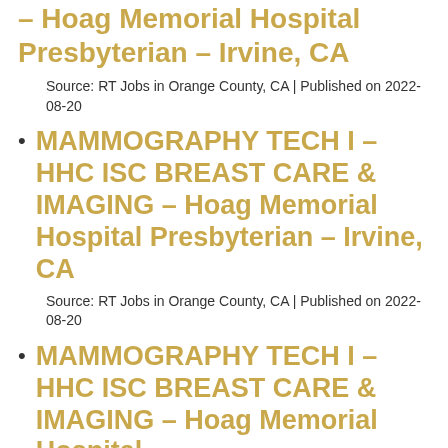– Hoag Memorial Hospital Presbyterian – Irvine, CA
Source: RT Jobs in Orange County, CA | Published on 2022-08-20
MAMMOGRAPHY TECH I – HHC ISC BREAST CARE & IMAGING – Hoag Memorial Hospital Presbyterian – Irvine, CA
Source: RT Jobs in Orange County, CA | Published on 2022-08-20
MAMMOGRAPHY TECH I – HHC ISC BREAST CARE & IMAGING – Hoag Memorial Hospital